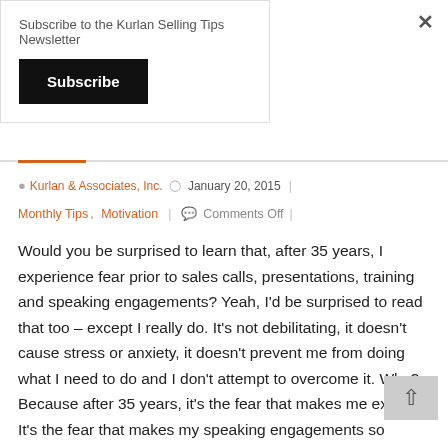Subscribe to the Kurlan Selling Tips Newsletter
Subscribe (button)
Kurlan & Associates, Inc. · January 20, 2015
Monthly Tips, Motivation | Comments Off
Would you be surprised to learn that, after 35 years, I experience fear prior to sales calls, presentations, training and speaking engagements? Yeah, I'd be surprised to read that too – except I really do. It's not debilitating, it doesn't cause stress or anxiety, it doesn't prevent me from doing what I need to do and I don't attempt to overcome it. Why? Because after 35 years, it's the fear that makes me excel. It's the fear that makes my speaking engagements so memorable. It's the fear that makes my training programs so effective. It's the fear that helps me